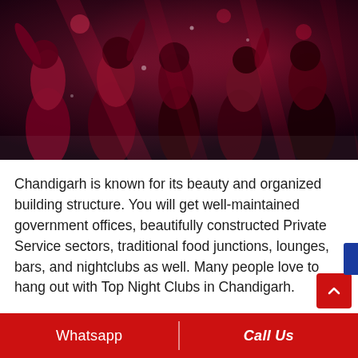[Figure (photo): Nightclub scene with people dancing under red and purple lights]
Chandigarh is known for its beauty and organized building structure. You will get well-maintained government offices, beautifully constructed Private Service sectors, traditional food junctions, lounges, bars, and nightclubs as well. Many people love to hang out with Top Night Clubs in Chandigarh.
Hence, the number of nightclubs and their service standard has increased in past few years. You will enjoy trending music, lightning dance floors, ba...
Whatsapp | Call Us